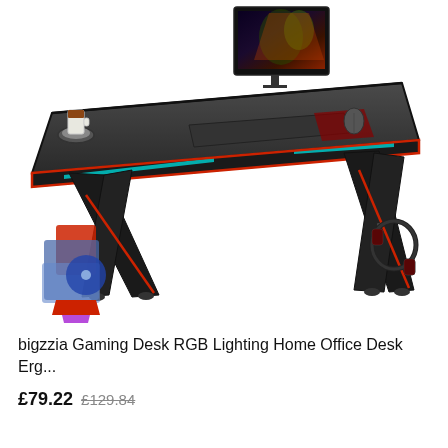[Figure (photo): A bigzzia gaming desk with RGB lighting, black surface with red accents, X-shaped legs, monitor on top, keyboard and mouse on surface, cup holder on left side, headphone hook on right leg, gaming controller/accessories on left leg shelf, white background.]
bigzzia Gaming Desk RGB Lighting Home Office Desk Erg...
£79.22 £129.84